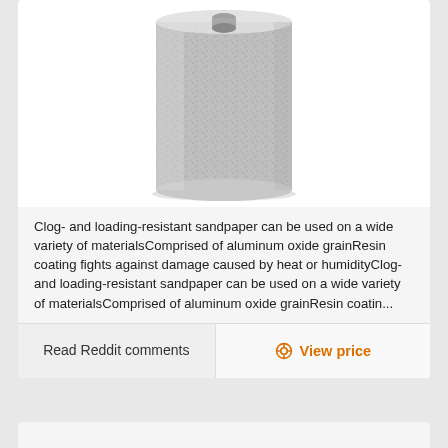[Figure (photo): A roll of sandpaper viewed from slightly above, showing the gray abrasive surface texture wrapped around a cylindrical roll. The roll is white/light gray in color with visible granular texture.]
Clog- and loading-resistant sandpaper can be used on a wide variety of materialsComprised of aluminum oxide grainResin coating fights against damage caused by heat or humidityClog- and loading-resistant sandpaper can be used on a wide variety of materialsComprised of aluminum oxide grainResin coatin...
Read Reddit comments
View price